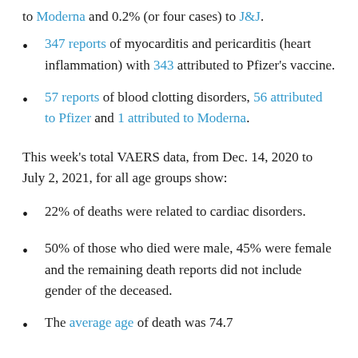347 reports of myocarditis and pericarditis (heart inflammation) with 343 attributed to Pfizer's vaccine.
57 reports of blood clotting disorders, 56 attributed to Pfizer and 1 attributed to Moderna.
This week's total VAERS data, from Dec. 14, 2020 to July 2, 2021, for all age groups show:
22% of deaths were related to cardiac disorders.
50% of those who died were male, 45% were female and the remaining death reports did not include gender of the deceased.
The average age of death was 74.7